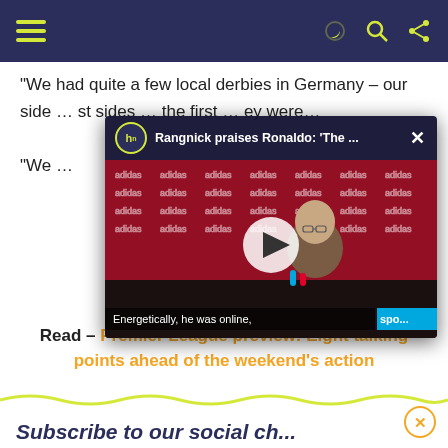Navigation bar with hamburger menu, search, and share icons
We had quite a few local derbies in Germany – our side … st sides … the first … ey were…
[Figure (screenshot): Video popup card showing Rangnick praises Ronaldo: 'The ...' with press conference thumbnail and play button. Caption reads: 'Energetically, he was online,']
"We …
Read – Premier League preview: Eight talking points ahead of the weekend's action
Read Also – Leicester, West Ham, and breaking the Premier League's glass ceiling
Subscribe to our social ch…